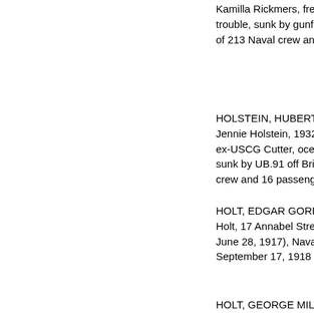Kamilla Rickmers, freighter (ID 1958), convoy straggler due to engine trouble, sunk by gunfire and torpedo of U.152 in North Atlantic (total of 213 Naval crew and Army soldiers lost), September 30, 1918
HOLSTEIN, HUBERT, Electrician, 3rd class, USCG, (mother, Mrs Jennie Holstein, 1932 Page Street, Philadelphia, Pa), USS Tampa, ex-USCG Cutter, ocean escort, left escort of HG.107, torpedoed and sunk by UB.91 off Bristol Channel in 50.40N, 06.19W (total of 115 crew and 16 passengers lost), September 26, 1918
HOLT, EDGAR GORDON, Musician, 2nd class, (father, Charles E Holt, 17 Annabel Street, Dorchester, Mass; enlisted Boston, Mass, June 28, 1917), Naval Hospital, Chelsea, Mass, influenza, September 17, 1918
HOLT, GEORGE MILTON,